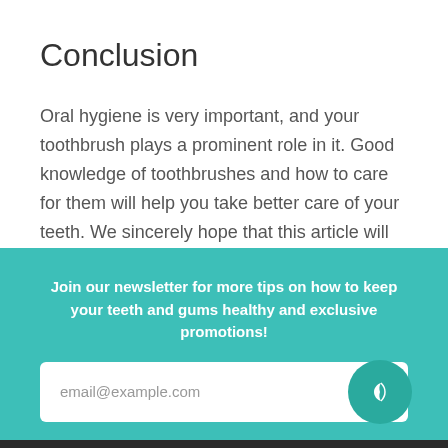Conclusion
Oral hygiene is very important, and your toothbrush plays a prominent role in it. Good knowledge of toothbrushes and how to care for them will help you take better care of your teeth. We sincerely hope that this article will help you in that regard.
Join our newsletter for more tips on how to keep your teeth and gums healthy and exclusive promotions!
email@example.com